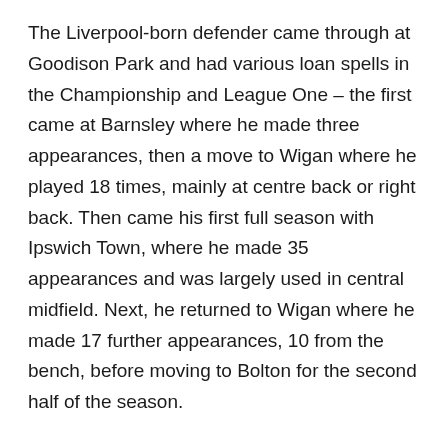The Liverpool-born defender came through at Goodison Park and had various loan spells in the Championship and League One – the first came at Barnsley where he made three appearances, then a move to Wigan where he played 18 times, mainly at centre back or right back. Then came his first full season with Ipswich Town, where he made 35 appearances and was largely used in central midfield. Next, he returned to Wigan where he made 17 further appearances, 10 from the bench, before moving to Bolton for the second half of the season.
Then, at the age of 21, Connolly dropped down to League One with Lincoln City, but the loan was cut short in January and he joined Fleetwood where he's spent the majority of the last 18 months. He ended his spell at the Cods as club captain under Simon Grayson,